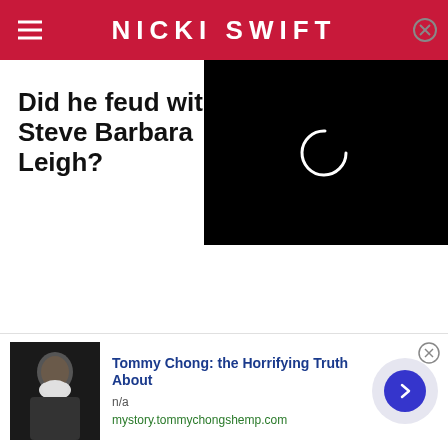NICKI SWIFT
Did he feud with Steve Barbara Leigh?
[Figure (other): Video player loading spinner on black background]
[Figure (photo): Tommy Chong portrait photo, older man with white beard]
Tommy Chong: the Horrifying Truth About
n/a
mystory.tommychongshemp.com